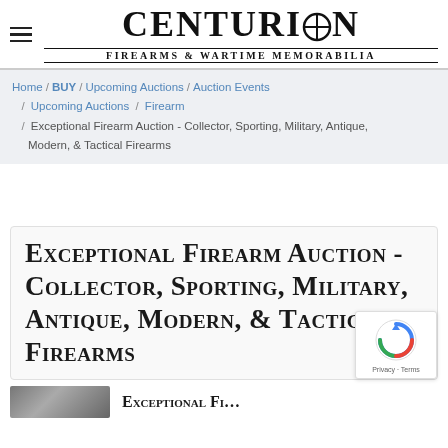CENTURION Firearms & Wartime Memorabilia
Home / BUY / Upcoming Auctions / Auction Events / Upcoming Auctions / Firearm / Exceptional Firearm Auction - Collector, Sporting, Military, Antique, Modern, & Tactical Firearms
Exceptional Firearm Auction - Collector, Sporting, Military, Antique, Modern, & Tactical Firearms